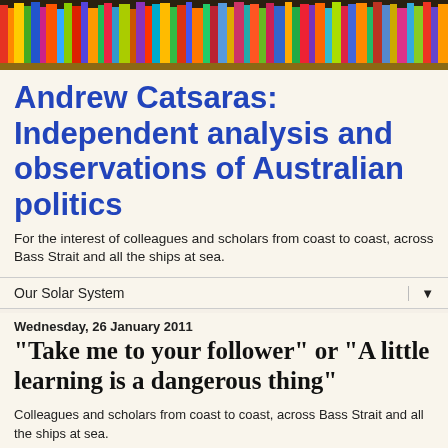[Figure (photo): Colorful bookshelf with books of various colors as a banner image at the top of the page]
Andrew Catsaras: Independent analysis and observations of Australian politics
For the interest of colleagues and scholars from coast to coast, across Bass Strait and all the ships at sea.
Our Solar System
Wednesday, 26 January 2011
"Take me to your follower" or "A little learning is a dangerous thing"
Colleagues and scholars from coast to coast, across Bass Strait and all the ships at sea.
Dateline: Australia, Federal Politics 2011.